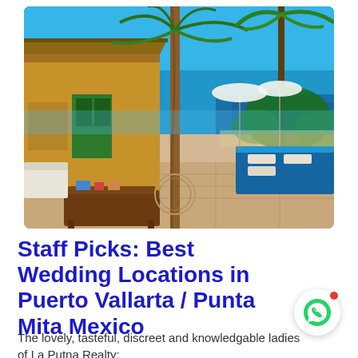[Figure (photo): Outdoor terrace of a luxury villa in Puerto Vallarta / Punta Mita Mexico, showing a pool area with lounge chairs, palm trees, a thatched-roof structure, and ocean view under a bright blue sky.]
Staff Picks: Best Wedding Locations in Puerto Vallarta / Punta Mita Mexico
The lovely, tasteful, discreet and knowledgable ladies of La Putna Realty: